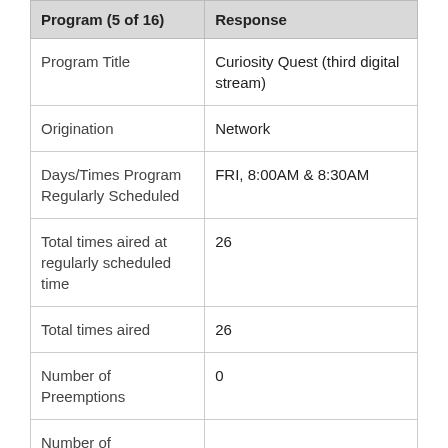| Program (5 of 16) | Response |
| --- | --- |
| Program Title | Curiosity Quest (third digital stream) |
| Origination | Network |
| Days/Times Program Regularly Scheduled | FRI, 8:00AM & 8:30AM |
| Total times aired at regularly scheduled time | 26 |
| Total times aired | 26 |
| Number of Preemptions | 0 |
| Number of Preemptions for |  |